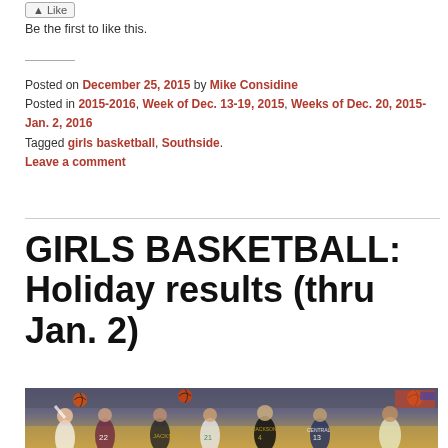Be the first to like this.
Posted on December 25, 2015 by Mike Considine
Posted in 2015-2016, Week of Dec. 13-19, 2015, Weeks of Dec. 20, 2015-Jan. 2, 2016
Tagged girls basketball, Southside.
Leave a comment
GIRLS BASKETBALL: Holiday results (thru Jan. 2)
[Figure (photo): Basketball game action photo showing multiple players on a court, with basketballs in the air, players in various uniforms including black and white.]